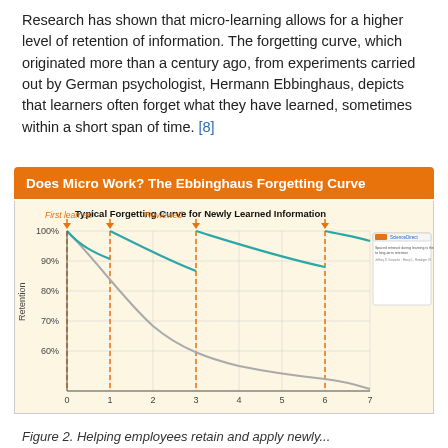Research has shown that micro-learning allows for a higher level of retention of information. The forgetting curve, which originated more than a century ago, from experiments carried out by German psychologist, Hermann Ebbinghaus, depicts that learners often forget what they have learned, sometimes within a short span of time. [8]
Does Micro Work? The Ebbinghaus Forgetting Curve
[Figure (continuous-plot): Line chart showing forgetting curves over time (0-7 on x-axis) with Retention (60%-100%) on y-axis. Two lines: a teal/cyan line showing retention with spaced reviews at x=0,1,3,6 (staying high ~90%), and a gray line showing decay without reviews (falling to ~60%). Orange dashed vertical lines mark review points labeled 'First learned' at 0 and 'Reviewed' at 1 and 3 and 6.]
Figure 2. Helping employees retain and apply newly...